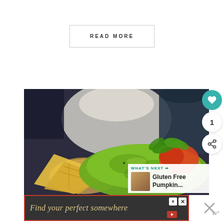READ MORE
[Figure (photo): Close-up food photo showing guacamole with tomatoes, cilantro, and tortilla chips in the foreground, with a white bowl/mug blurred in the background on a dark surface. A 'What's Next' overlay shows Gluten Free Pumpkin... with a thumbnail. Heart and share icons on the right side.]
Find your perfect somewhere